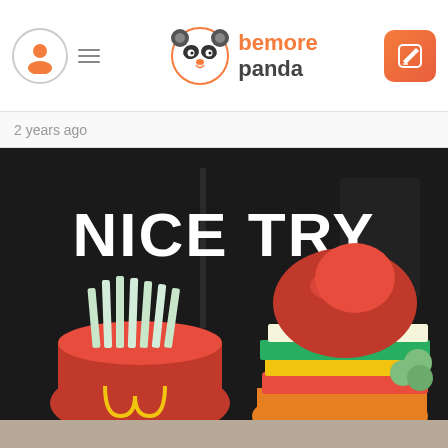bemorepanda app header with avatar, logo, and edit button
2 years ago
[Figure (photo): Meme image showing fruits arranged to look like fast food: a hollowed red apple filled with apple slices resembling McDonald's fries (with golden arches carved on the side), and another fruit arrangement resembling a burger with layered fruits. Bold white text at top reads 'NICE TRY'.]